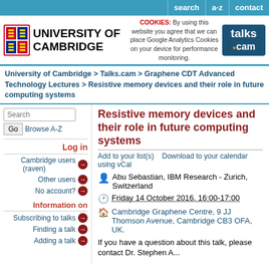search | a-z | contact
[Figure (logo): University of Cambridge logo with coat of arms and text, cookie notice, and talks.cam logo]
University of Cambridge > Talks.cam > Graphene CDT Advanced Technology Lectures > Resistive memory devices and their role in future computing systems
Resistive memory devices and their role in future computing systems
Add to your list(s)    Download to your calendar using vCal
Abu Sebastian, IBM Research - Zurich, Switzerland
Friday 14 October 2016, 16:00-17:00
Cambridge Graphene Centre, 9 JJ Thomson Avenue, Cambridge CB3 OFA, UK.
If you have a question about this talk, please contact Dr. Stephen A...
Search | Go | Browse A-Z
Log in
Cambridge users (raven)
Other users
No account?
Information on
Subscribing to talks
Finding a talk
Adding a talk